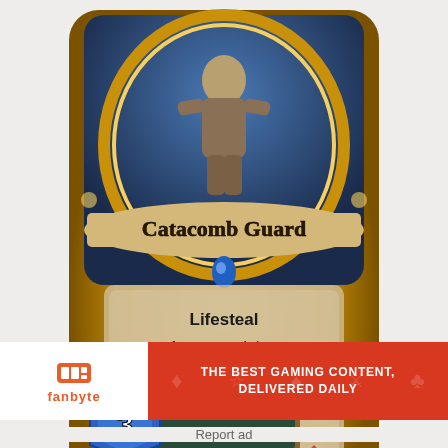[Figure (illustration): Hearthstone card: Catacomb Guard (golden). Shows a warrior figure in armour. Card text reads: Lifesteal. Battlecry: Deal damage equal to this minion's Attack to an enemy minion. Attack: 1, Health: 4.]
Rating: 3.6/5. From 113 votes.
[Figure (illustration): Partial view of a second Hearthstone card showing a blue mana crystal with the number 3 and a dark golden border.]
[Figure (illustration): Fanbyte advertisement banner: logo on white left panel, red right panel with text THE BEST GAMING CONTENT, DELIVERED DAILY]
Report ad